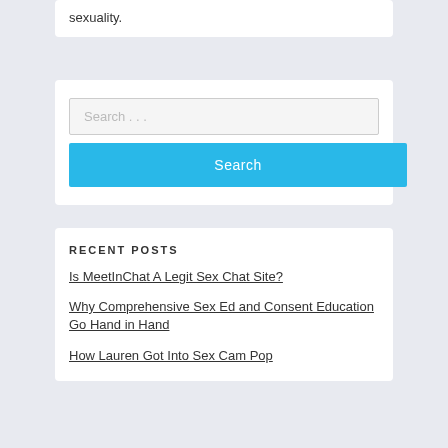sexuality.
Search …
Search
RECENT POSTS
Is MeetInChat A Legit Sex Chat Site?
Why Comprehensive Sex Ed and Consent Education Go Hand in Hand
How Lauren Got Into Sex Cam Pop